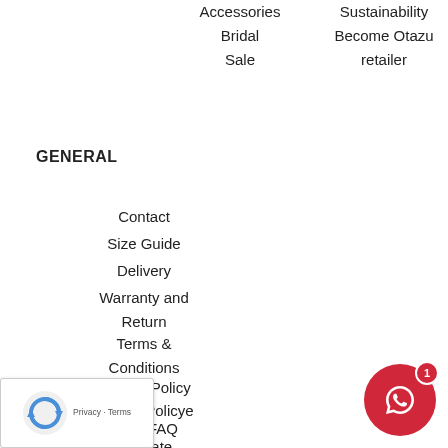Accessories
Bridal
Sale
Sustainability
Become Otazu retailer
GENERAL
Contact
Size Guide
Delivery
Warranty and Return
Terms & Conditions
Privacy Policy
Cookie Policye
FAQ
iate
tructions